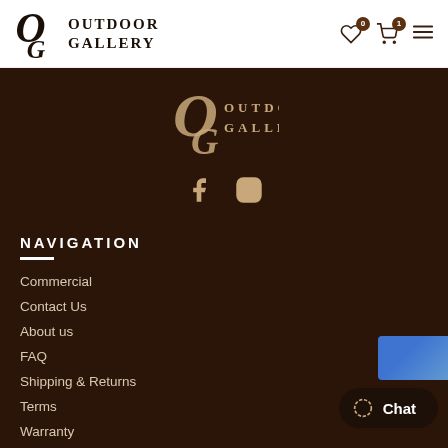OUTDOOR GALLERY
[Figure (logo): Outdoor Gallery footer logo with OG monogram and text OUTDOOR GALLERY in beige/tan on dark brown background]
[Figure (other): Social media icons: Facebook and Instagram in beige/tan color]
NAVIGATION
Commercial
Contact Us
About us
FAQ
Shipping & Returns
Terms
Warranty